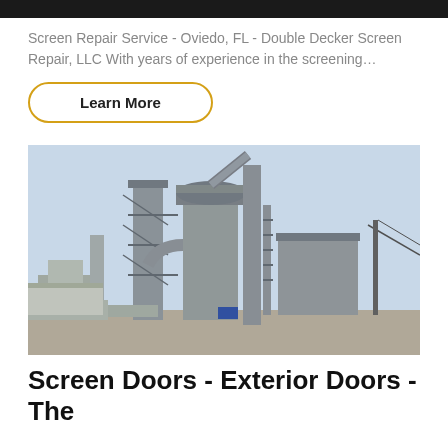Screen Repair Service - Oviedo, FL - Double Decker Screen Repair, LLC With years of experience in the screening…
Learn More
[Figure (photo): Industrial facility with large metal towers, pipes, conveyor systems, and scaffolding against a pale blue sky. An asphalt or industrial plant structure.]
Screen Doors - Exterior Doors - The